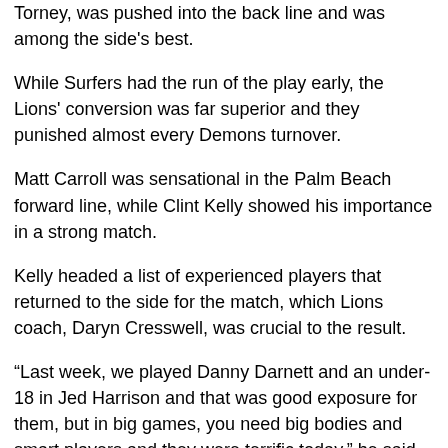Torney, was pushed into the back line and was among the side's best.
While Surfers had the run of the play early, the Lions' conversion was far superior and they punished almost every Demons turnover.
Matt Carroll was sensational in the Palm Beach forward line, while Clint Kelly showed his importance in a strong match.
Kelly headed a list of experienced players that returned to the side for the match, which Lions coach, Daryn Cresswell, was crucial to the result.
“Last week, we played Danny Darnett and an under-18 in Jed Harrison and that was good exposure for them, but in big games, you need big bodies and smart players and they were terrific today,” he said.